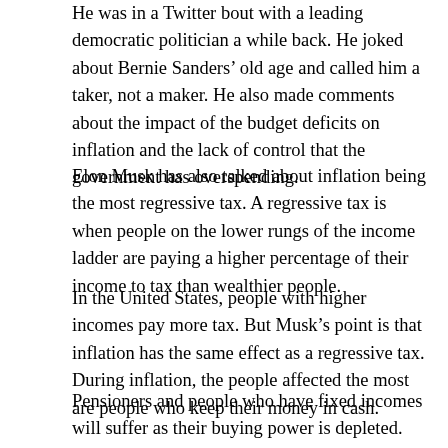He was in a Twitter bout with a leading democratic politician a while back. He joked about Bernie Sanders' old age and called him a taker, not a maker. He also made comments about the impact of the budget deficits on inflation and the lack of control that the government has overspending.
Elon Musk has also talked about inflation being the most regressive tax. A regressive tax is when people on the lower rungs of the income ladder are paying a higher percentage of their income to tax than wealthier people.
In the United States, people with higher incomes pay more tax. But Musk's point is that inflation has the same effect as a regressive tax. During inflation, the people affected the most are people who keep their money in cash.
Pensioners and people who have fixed incomes will suffer as their buying power is depleted. The wealthy might not be affected as much because the value of their investments keeps increasing. The super-wealthy do not feel it because they have financial control, and they can increase their wages to match up